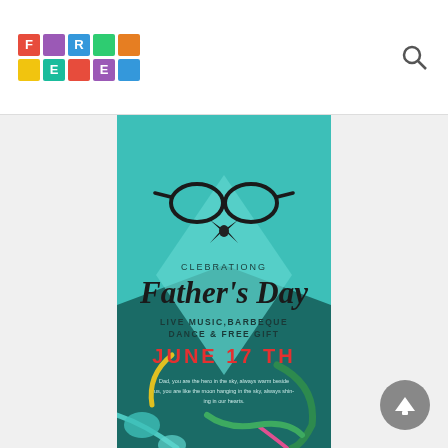[Figure (logo): Colorful FREE logo made of colored tiles with letters F, R, E, E]
[Figure (illustration): Father's Day celebration poster with teal background, glasses illustration, text: CLEBRATIOING, Father's Day, LIVE MUSIC, BARBEQUE, DANCE & FREE GIFT, JUNE 17 TH]
[Figure (other): Gray scroll-to-top button circle with upward arrow]